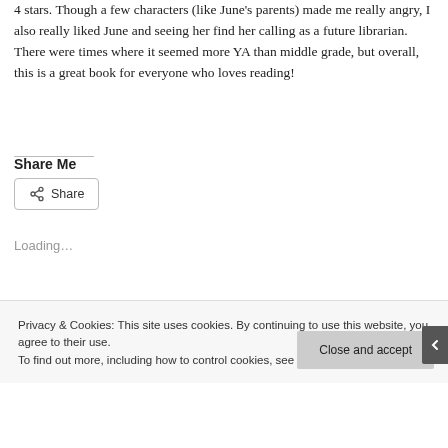4 stars. Though a few characters (like June's parents) made me really angry, I also really liked June and seeing her find her calling as a future librarian. There were times where it seemed more YA than middle grade, but overall, this is a great book for everyone who loves reading!
Share Me
[Figure (other): Share button with share icon]
Loading...
Privacy & Cookies: This site uses cookies. By continuing to use this website, you agree to their use.
To find out more, including how to control cookies, see here: Cookie Policy
Close and accept